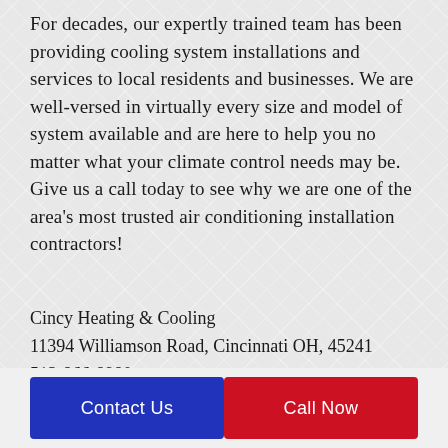For decades, our expertly trained team has been providing cooling system installations and services to local residents and businesses. We are well-versed in virtually every size and model of system available and are here to help you no matter what your climate control needs may be. Give us a call today to see why we are one of the area's most trusted air conditioning installation contractors!
Cincy Heating & Cooling
11394 Williamson Road, Cincinnati OH, 45241
513-866-8980
Cooling
Contact Us
Call Now